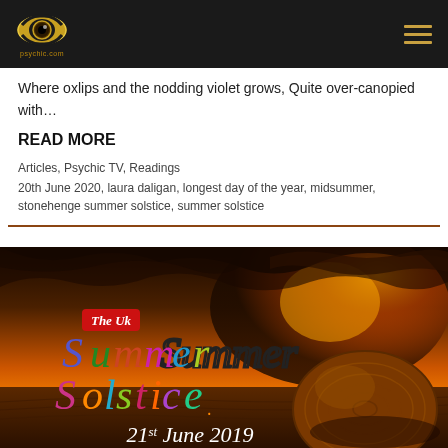psychic.com
Where oxlips and the nodding violet grows, Quite over-canopied with…
READ MORE
Articles, Psychic TV, Readings
20th June 2020, laura daligan, longest day of the year, midsummer, stonehenge summer solstice, summer solstice
[Figure (illustration): The UK Summer Solstice 21st June 2019 promotional image with colorful decorative text overlay on a dramatic sunset field with hay bale background]